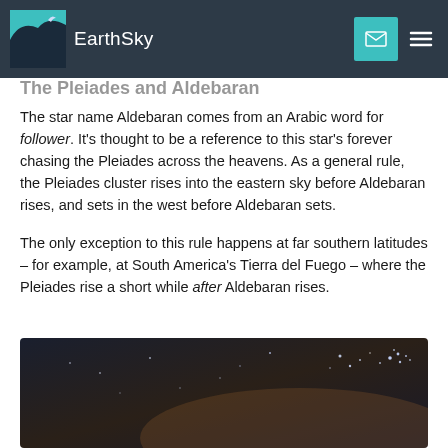EarthSky
The Pleiades and Aldebaran
The star name Aldebaran comes from an Arabic word for follower. It’s thought to be a reference to this star’s forever chasing the Pleiades across the heavens. As a general rule, the Pleiades cluster rises into the eastern sky before Aldebaran rises, and sets in the west before Aldebaran sets.
The only exception to this rule happens at far southern latitudes – for example, at South America’s Tierra del Fuego – where the Pleiades rise a short while after Aldebaran rises.
[Figure (photo): Night sky photograph showing stars, including the Pleiades star cluster]